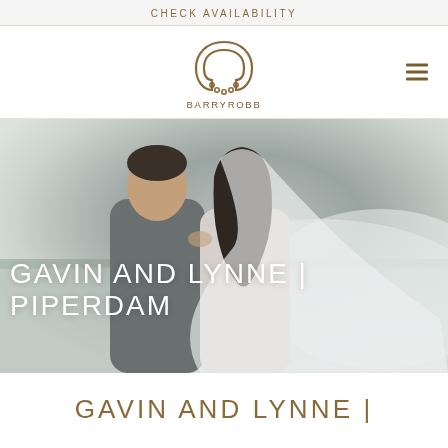CHECK AVAILABILITY
[Figure (logo): Barry Robb horseshoe logo with text BARRYROBB below]
[Figure (photo): Wedding couple kissing outdoors, bride with flowing veil, cloudy sky background]
GAVIN AND LYNNE | PIPERDAM
GAVIN AND LYNNE |